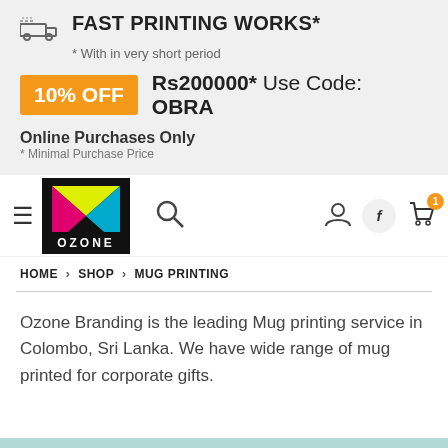FAST PRINTING WORKS*
* With in very short period
10% OFF  Rs200000*  Use Code: OBRA
Online Purchases Only
* Minimal Purchase Price
[Figure (logo): Ozone Branding logo with colorful triangles and OZONE text]
HOME > SHOP > MUG PRINTING
Ozone Branding is the leading Mug printing service in Colombo, Sri Lanka. We have wide range of mug printed for corporate gifts.